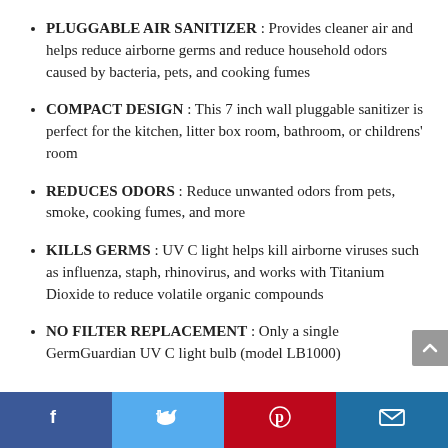PLUGGABLE AIR SANITIZER : Provides cleaner air and helps reduce airborne germs and reduce household odors caused by bacteria, pets, and cooking fumes
COMPACT DESIGN : This 7 inch wall pluggable sanitizer is perfect for the kitchen, litter box room, bathroom, or childrens' room
REDUCES ODORS : Reduce unwanted odors from pets, smoke, cooking fumes, and more
KILLS GERMS : UV C light helps kill airborne viruses such as influenza, staph, rhinovirus, and works with Titanium Dioxide to reduce volatile organic compounds
NO FILTER REPLACEMENT : Only a single GermGuardian UV C light bulb (model LB1000)
Facebook | Twitter | Pinterest | Email